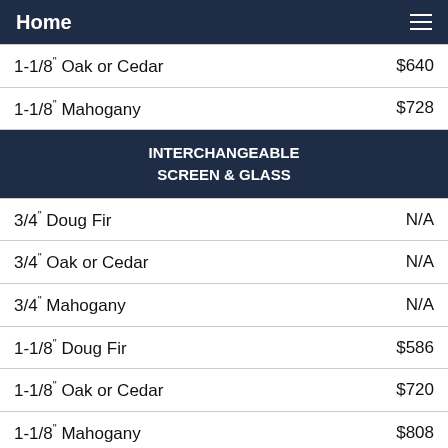Home
| 1-1/8" Oak or Cedar | $640 |
| 1-1/8" Mahogany | $728 |
| INTERCHANGEABLE SCREEN & GLASS |  |
| 3/4" Doug Fir | N/A |
| 3/4" Oak or Cedar | N/A |
| 3/4" Mahogany | N/A |
| 1-1/8" Doug Fir | $586 |
| 1-1/8" Oak or Cedar | $720 |
| 1-1/8" Mahogany | $808 |
Prices above are for standard sizes (30", 32" or 36" wide by 81" tall), Unfinished, Charcoal Fiberglass Screen. Please see below for other options.